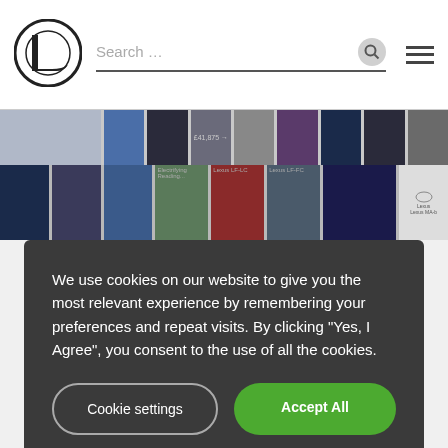[Figure (screenshot): Lexus website header with logo, search bar, search icon, and hamburger menu]
[Figure (screenshot): Website image strip showing thumbnail images of Lexus cars and content]
We use cookies on our website to give you the most relevant experience by remembering your preferences and repeat visits. By clicking "Yes, I Agree", you consent to the use of all the cookies.
Cookie settings
Accept All
the most out your Lexus hybrid, and now we want to share with you more exciting product news, events, stunts, photos and competitions.
To do this, we'll be making greater use of some of our newer social channels, such as mobile app Instagram, social network Google+, and photo-pinning